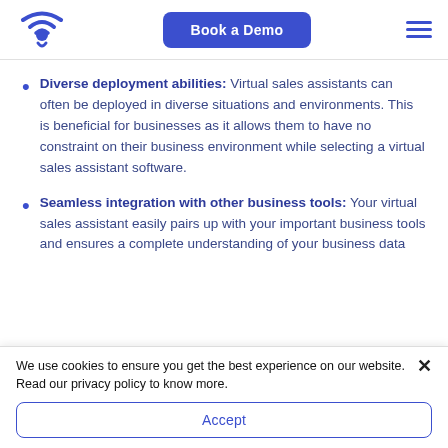Book a Demo [navigation header with logo and hamburger menu]
Diverse deployment abilities: Virtual sales assistants can often be deployed in diverse situations and environments. This is beneficial for businesses as it allows them to have no constraint on their business environment while selecting a virtual sales assistant software.
Seamless integration with other business tools: Your virtual sales assistant easily pairs up with your important business tools and ensures a complete understanding of your business data
We use cookies to ensure you get the best experience on our website. Read our privacy policy to know more.
Accept